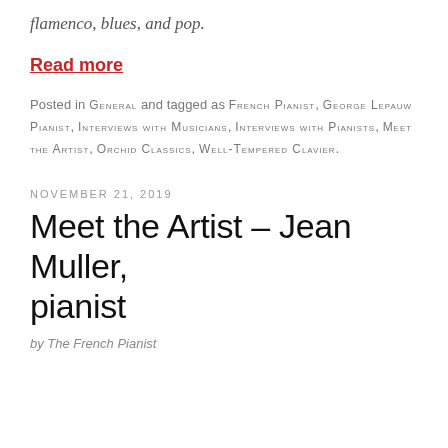flamenco, blues, and pop.
Read more
Posted in GENERAL and tagged as FRENCH PIANIST, GEORGE LEPAUW PIANIST, INTERVIEWS WITH MUSICIANS, INTERVIEWS WITH PIANISTS, MEET THE ARTIST, ORCHID CLASSICS, WELL-TEMPERED CLAVIER.
NOVEMBER 21, 2019
Meet the Artist – Jean Muller, pianist
by The French Pianist